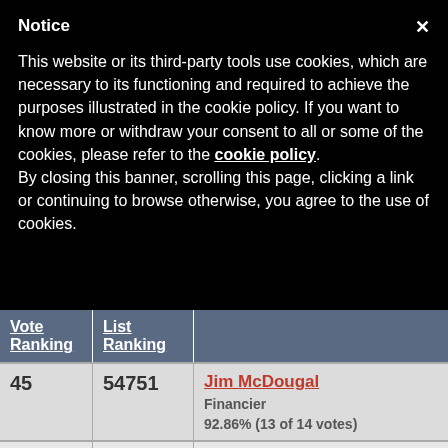Notice
This website or its third-party tools use cookies, which are necessary to its functioning and required to achieve the purposes illustrated in the cookie policy. If you want to know more or withdraw your consent to all or some of the cookies, please refer to the cookie policy.
By closing this banner, scrolling this page, clicking a link or continuing to browse otherwise, you agree to the use of cookies.
| Vote Ranking | List Ranking |  |  |
| --- | --- | --- | --- |
| 45 | 54751 | Jim McDougal
Financier
92.86% (13 of 14 votes) | [image] |
| 90 | 54752 | Moesha | [image] |